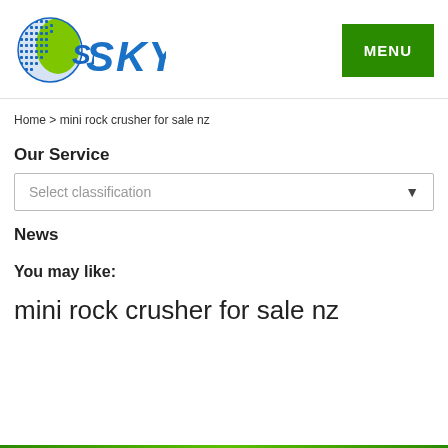[Figure (logo): SKY company logo with globe icon and blue SKY text]
[Figure (other): Green MENU button]
Home > mini rock crusher for sale nz
Our Service
[Figure (other): Dropdown selector with placeholder 'Select classification']
News
You may like:
mini rock crusher for sale nz